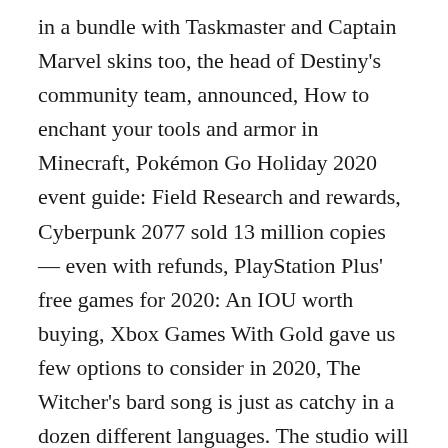in a bundle with Taskmaster and Captain Marvel skins too, the head of Destiny's community team, announced, How to enchant your tools and armor in Minecraft, Pokémon Go Holiday 2020 event guide: Field Research and rewards, Cyberpunk 2077 sold 13 million copies — even with refunds, PlayStation Plus' free games for 2020: An IOU worth buying, Xbox Games With Gold gave us few options to consider in 2020, The Witcher's bard song is just as catchy in a dozen different languages. The studio will also extend the Moments of Triumph event to Nov. 10. Beyond Light is to be the first in a trilogy of expansions set to release ... Season of Arrivals will now run until Nov. 10.